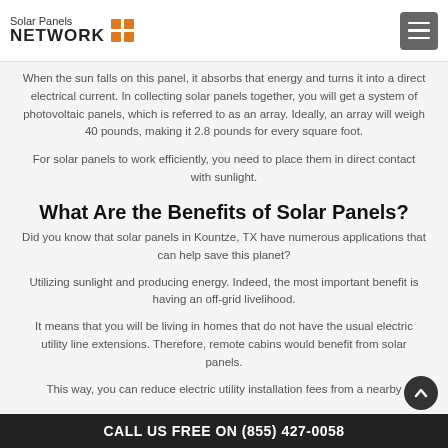Solar Panels NETWORK
When the sun falls on this panel, it absorbs that energy and turns it into a direct electrical current. In collecting solar panels together, you will get a system of photovoltaic panels, which is referred to as an array. Ideally, an array will weigh 40 pounds, making it 2.8 pounds for every square foot.
For solar panels to work efficiently, you need to place them in direct contact with sunlight.
What Are the Benefits of Solar Panels?
Did you know that solar panels in Kountze, TX have numerous applications that can help save this planet?
Utilizing sunlight and producing energy. Indeed, the most important benefit is having an off-grid livelihood.
It means that you will be living in homes that do not have the usual electric utility line extensions. Therefore, remote cabins would benefit from solar panels.
This way, you can reduce electric utility installation fees from a nearby...
CALL US FREE ON (855) 427-0058